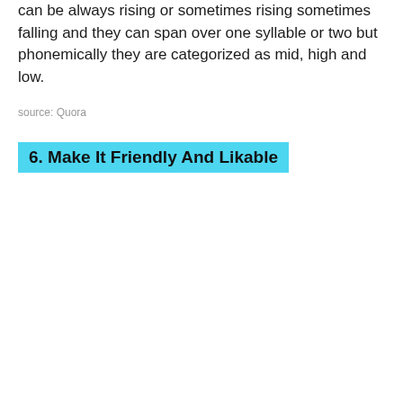can be always rising or sometimes rising sometimes falling and they can span over one syllable or two but phonemically they are categorized as mid, high and low.
source: Quora
6. Make It Friendly And Likable